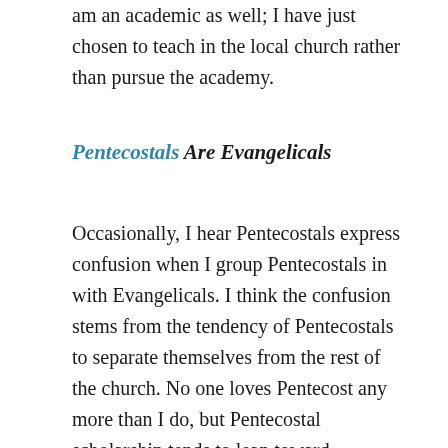am an academic as well; I have just chosen to teach in the local church rather than pursue the academy.
Pentecostals Are Evangelicals
Occasionally, I hear Pentecostals express confusion when I group Pentecostals in with Evangelicals. I think the confusion stems from the tendency of Pentecostals to separate themselves from the rest of the church. No one loves Pentecost any more than I do, but Pentecostal scholarship tends to lean toward liberation theology, as if for some reason that would give us more credibility with non-Pentecostal, even non-Christian intellectuals.